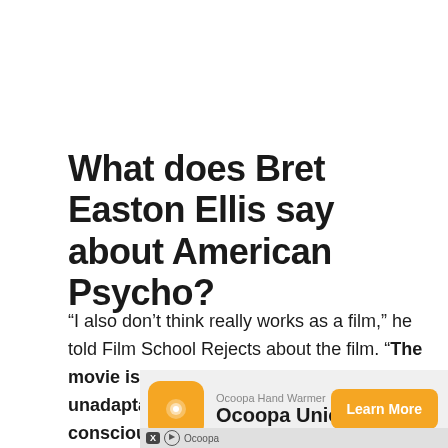What does Bret Easton Ellis say about American Psycho?
“I also don’t think really works as a film,” he told Film School Rejects about the film. “The movie is fine, but I think that book is unadaptable because it’s about consciousness, and you can’t really shoot that sensibility. Also, you have to make a decision whether Patrick Bateman kills people or doesn’t.
[Figure (other): Advertisement banner for Ocoopa Hand Warmer - Ocoopa Union Core product with orange icon, product name, and Learn More button]